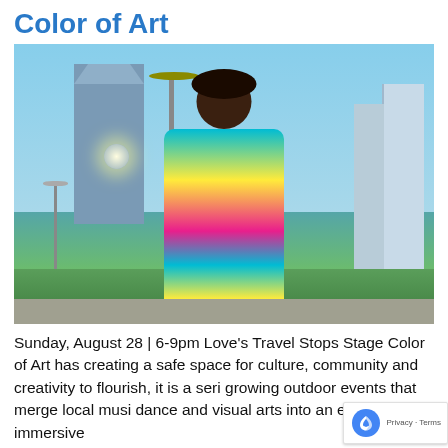Color of Art
[Figure (photo): A young Black man wearing colorful patterned shirt standing outdoors with city buildings, street lights, and trees in background under a clear blue sky]
Sunday, August 28 | 6-9pm Love's Travel Stops Stage Color of Art has creating a safe space for culture, community and creativity to flourish, it is a seri growing outdoor events that merge local musi dance and visual arts into an evening of immersive